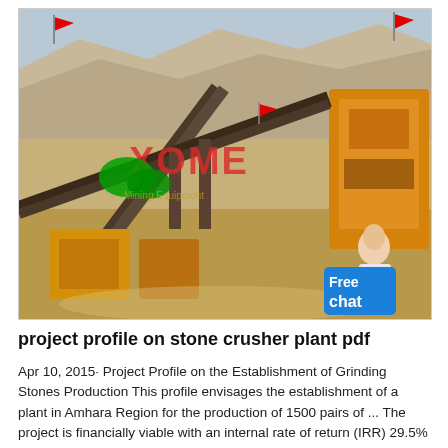[Figure (photo): Aerial photograph of a stone crusher plant / mining quarry with heavy industrial equipment, conveyor belts, crushers, and orange machinery. XOME watermark logo in red and green overlaid on the image. A 'Free chat' blue button and a customer service figure visible in the bottom-right corner of the image.]
project profile on stone crusher plant pdf
Apr 10, 2015· Project Profile on the Establishment of Grinding Stones Production This profile envisages the establishment of a plant in Amhara Region for the production of 1500 pairs of ... The project is financially viable with an internal rate of return (IRR) 29.5% and a net present value .... Qty (pcs). 1. Crusher with fittings.